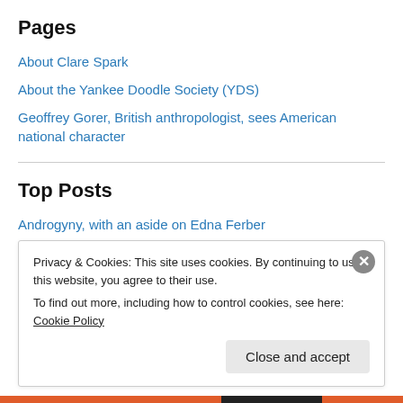Pages
About Clare Spark
About the Yankee Doodle Society (YDS)
Geoffrey Gorer, British anthropologist, sees American national character
Top Posts
Androgyny, with an aside on Edna Ferber
Noam Chomsky's misrepresentation of Walter Lippmann's chief ideas on manufacturing consent
About the Yankee Doodle Society (YDS)
Privacy & Cookies: This site uses cookies. By continuing to use this website, you agree to their use. To find out more, including how to control cookies, see here: Cookie Policy